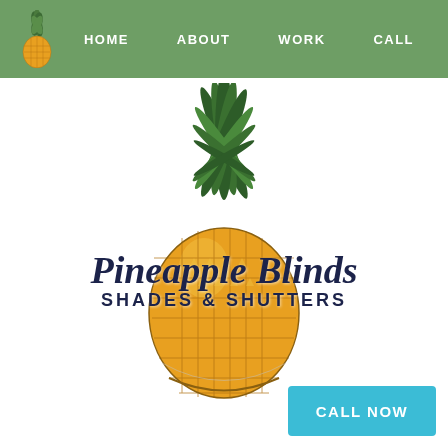HOME  ABOUT  WORK  CALL
[Figure (logo): Pineapple Blinds Shades & Shutters logo: large illustrated pineapple with green leaves on top and golden-yellow body with diamond pattern, overlaid with company name text. Small pineapple icon in navigation bar.]
Pineapple Blinds Shades & Shutters
CALL NOW